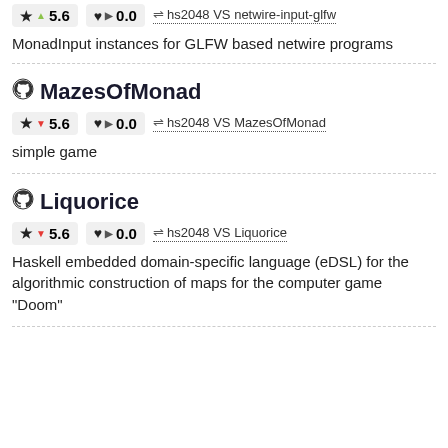★ ▲ 5.6   ♥ ▶ 0.0   ⇌ hs2048 VS netwire-input-glfw
MonadInput instances for GLFW based netwire programs
MazesOfMonad
★ ▼ 5.6   ♥ ▶ 0.0   ⇌ hs2048 VS MazesOfMonad
simple game
Liquorice
★ ▼ 5.6   ♥ ▶ 0.0   ⇌ hs2048 VS Liquorice
Haskell embedded domain-specific language (eDSL) for the algorithmic construction of maps for the computer game "Doom"